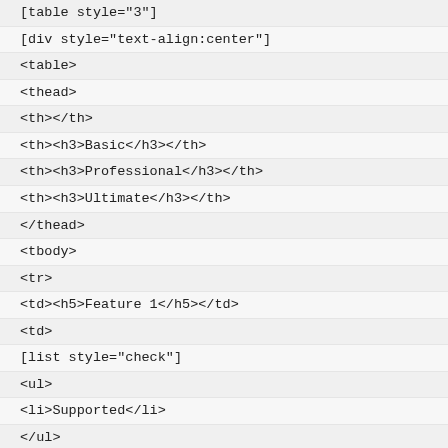[table style="3"]
[div style="text-align:center"]
<table>
<thead>
<th></th>
<th><h3>Basic</h3></th>
<th><h3>Professional</h3></th>
<th><h3>Ultimate</h3></th>
</thead>
<tbody>
<tr>
<td><h5>Feature 1</h5></td>
<td>
[list style="check"]
<ul>
<li>Supported</li>
</ul>
[/list]
</td>
<td>[list style="check"]
<ul>
<li>Supported</li>